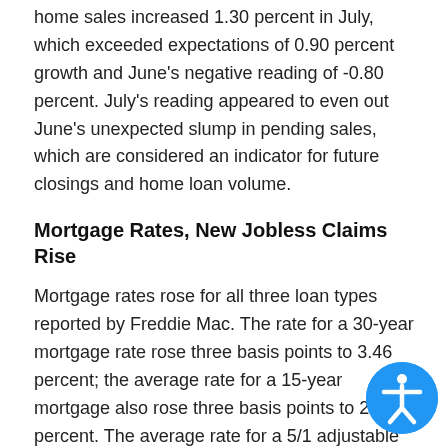home sales increased 1.30 percent in July, which exceeded expectations of 0.90 percent growth and June's negative reading of -0.80 percent. July's reading appeared to even out June's unexpected slump in pending sales, which are considered an indicator for future closings and home loan volume.
Mortgage Rates, New Jobless Claims Rise
Mortgage rates rose for all three loan types reported by Freddie Mac. The rate for a 30-year mortgage rate rose three basis points to 3.46 percent; the average rate for a 15-year mortgage also rose three basis points to 2.77 percent. The average rate for a 5/1 adjustable rate mortgage jumped by eight basis points to 2.83 percent.